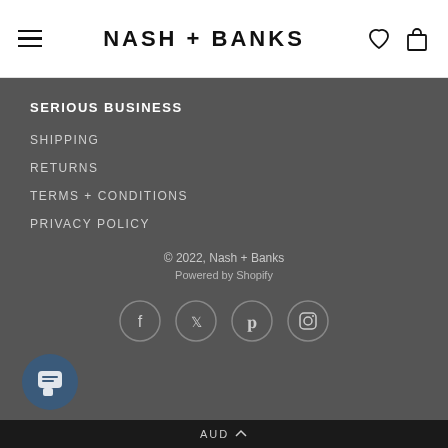NASH + BANKS
SERIOUS BUSINESS
SHIPPING
RETURNS
TERMS + CONDITIONS
PRIVACY POLICY
© 2022, Nash + Banks
Powered by Shopify
[Figure (other): Social media icon links: Facebook, Twitter, Pinterest, Instagram in circular outlines]
AUD